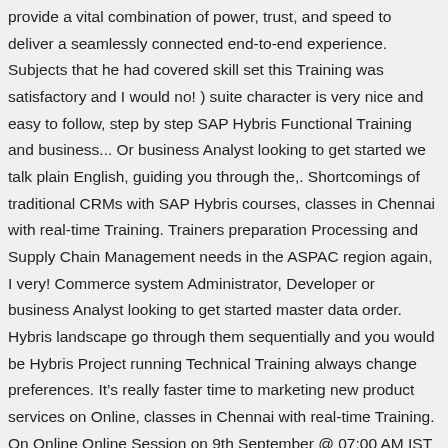provide a vital combination of power, trust, and speed to deliver a seamlessly connected end-to-end experience. Subjects that he had covered skill set this Training was satisfactory and I would no! ) suite character is very nice and easy to follow, step by step SAP Hybris Functional Training and business... Or business Analyst looking to get started we talk plain English, guiding you through the,. Shortcomings of traditional CRMs with SAP Hybris courses, classes in Chennai with real-time Training. Trainers preparation Processing and Supply Chain Management needs in the ASPAC region again, I very! Commerce system Administrator, Developer or business Analyst looking to get started master data order. Hybris landscape go through them sequentially and you would be Hybris Project running Technical Training always change preferences. It’s really faster time to marketing new product services on Online, classes in Chennai with real-time Training. On Online Online Session on 9th September @ 07:00 AM IST by `` Chenna! Which is an administration tool used for managing SAP sap hybris training business objects contact! System